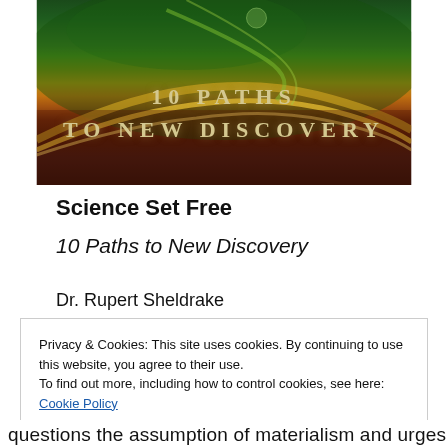[Figure (illustration): Book cover for 'Science Set Free: 10 Paths to New Discovery' showing a dark green and golden cosmic swirl background with the text '10 PATHS TO NEW DISCOVERY' in gold lettering]
Science Set Free
10 Paths to New Discovery
Dr. Rupert Sheldrake
Privacy & Cookies: This site uses cookies. By continuing to use this website, you agree to their use.
To find out more, including how to control cookies, see here: Cookie Policy
[Close and accept]
questions the assumption of materialism and urges us